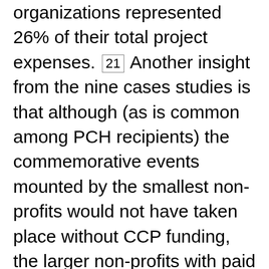organizations represented 26% of their total project expenses. [21] Another insight from the nine cases studies is that although (as is common among PCH recipients) the commemorative events mounted by the smallest non-profits would not have taken place without CCP funding, the larger non-profits with paid staff were more likely to say that, in the absence of CCP funding, the event would have taken place on a smaller scale, but that the funding allowed them to make their event national in scope. [22] One key informant also recommended more funding to allow larger funding recipients to